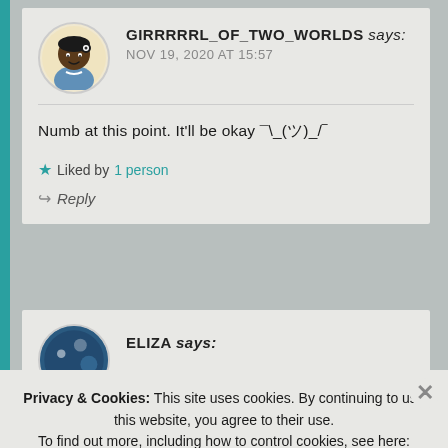GIRRRRRL_OF_TWO_WORLDS says:
NOV 19, 2020 AT 15:57
Numb at this point. It'll be okay ¯\_(ツ)_/¯
★ Liked by 1 person
↪ Reply
ELIZA says:
Privacy & Cookies: This site uses cookies. By continuing to use this website, you agree to their use.
To find out more, including how to control cookies, see here: Cookie Policy
Close and accept